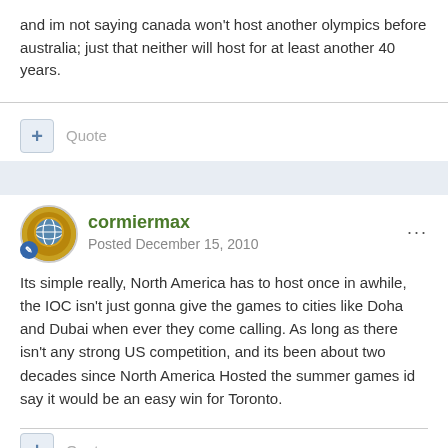and im not saying canada won't host another olympics before australia; just that neither will host for at least another 40 years.
+ Quote
cormiermax
Posted December 15, 2010
Its simple really, North America has to host once in awhile, the IOC isn't just gonna give the games to cities like Doha and Dubai when ever they come calling. As long as there isn't any strong US competition, and its been about two decades since North America Hosted the summer games id say it would be an easy win for Toronto.
+ Quote